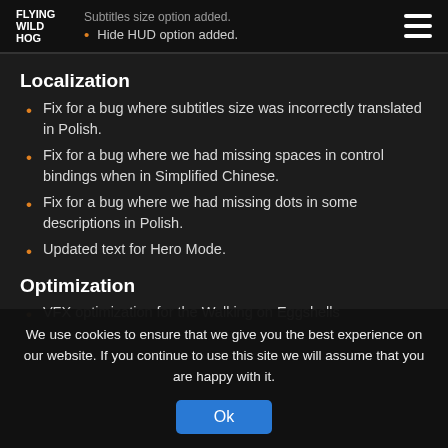[Figure (logo): Flying Wild Hog logo - white stacked text on dark background]
Subtitles size option added.
Hide HUD option added.
Localization
Fix for a bug where subtitles size was incorrectly translated in Polish.
Fix for a bug where we had missing spaces in control bindings when in Simplified Chinese.
Fix for a bug where we had missing dots in some descriptions in Polish.
Updated text for Hero Mode.
Optimization
VFX optimization for the Walking on Eggshells
We use cookies to ensure that we give you the best experience on our website. If you continue to use this site we will assume that you are happy with it.